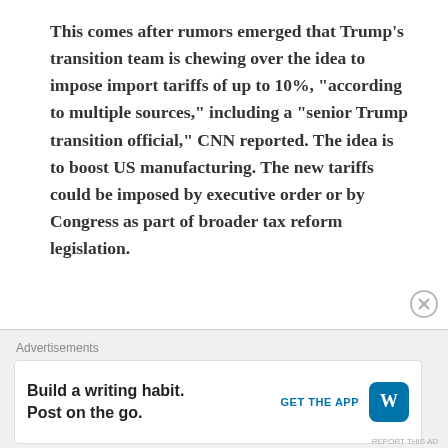This comes after rumors emerged that Trump's transition team is chewing over the idea to impose import tariffs of up to 10%, “according to multiple sources,” including a “senior Trump transition official,” CNN reported. The idea is to boost US manufacturing. The new tariffs could be imposed by executive order or by Congress as part of broader tax reform legislation.
The 10% would be an uptick from the 5% tariff that incoming White
Advertisements
Build a writing habit. Post on the go.